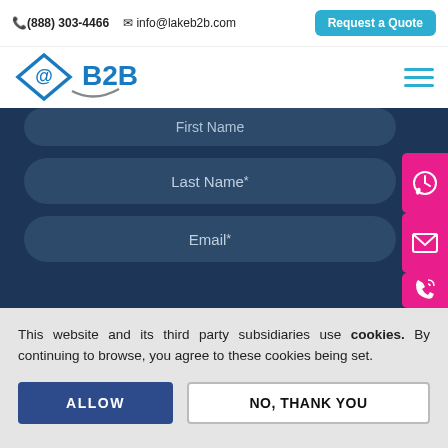(888) 303-4466   info@lakeb2b.com   Request a Quote
[Figure (logo): LakeB2B logo with @ symbol in blue diamond and B2B text]
First Name
Last Name*
Email*
This website and its third party subsidiaries use cookies. By continuing to browse, you agree to these cookies being set.
ALLOW
NO, THANK YOU